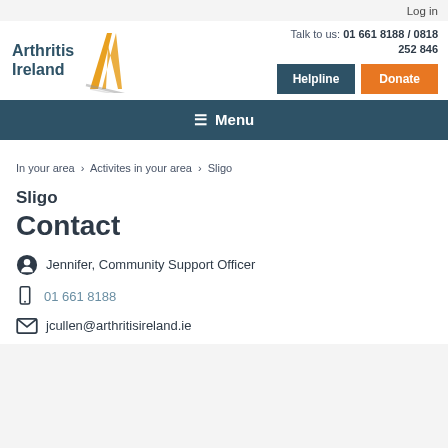Log in
[Figure (logo): Arthritis Ireland logo with stylized A in yellow/gold]
Talk to us: 01 661 8188 / 0818 252 846
Helpline | Donate
Menu
In your area > Activites in your area > Sligo
Sligo
Contact
Jennifer, Community Support Officer
01 661 8188
jcullen@arthritisireland.ie